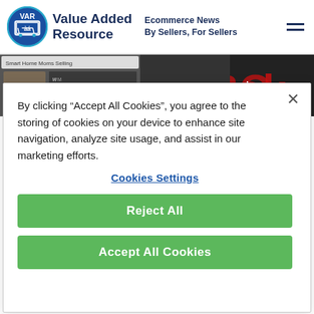Value Added Resource — Ecommerce News By Sellers, For Sellers
[Figure (screenshot): Video thumbnail showing 'Ebay Reselling Groups being DELET...' with Facebook logo/text in background]
By clicking “Accept All Cookies”, you agree to the storing of cookies on your device to enhance site navigation, analyze site usage, and assist in our marketing efforts.
Cookies Settings
Reject All
Accept All Cookies